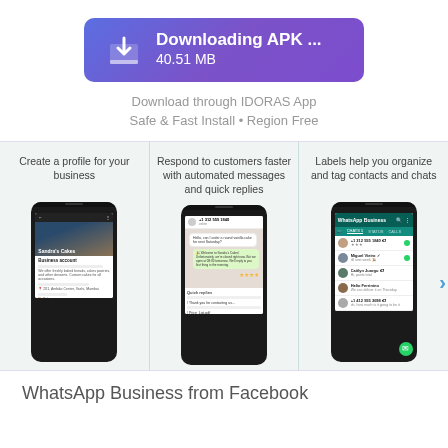[Figure (screenshot): Download button with gradient purple/blue background, download icon on left, text 'Downloading APK ...' and '40.51 MB' on right]
Download through IDORAS App
Safe & Fast Install • Region Free
[Figure (screenshot): Three mobile phone screenshots showing WhatsApp Business features: 1) Create a profile for your business - showing Sandra's Cakes profile, 2) Respond to customers faster with automated messages and quick replies - showing chat interface, 3) Labels help you organize and tag contacts and chats - showing contact list]
Create a profile for your business
Respond to customers faster with automated messages and quick replies
Labels help you organize and tag contacts and chats
WhatsApp Business from Facebook